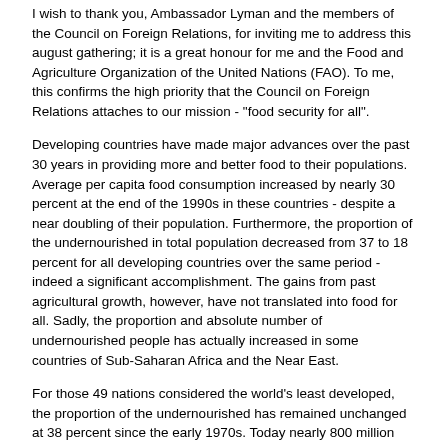I wish to thank you, Ambassador Lyman and the members of the Council on Foreign Relations, for inviting me to address this august gathering; it is a great honour for me and the Food and Agriculture Organization of the United Nations (FAO). To me, this confirms the high priority that the Council on Foreign Relations attaches to our mission - "food security for all".
Developing countries have made major advances over the past 30 years in providing more and better food to their populations. Average per capita food consumption increased by nearly 30 percent at the end of the 1990s in these countries - despite a near doubling of their population. Furthermore, the proportion of the undernourished in total population decreased from 37 to 18 percent for all developing countries over the same period - indeed a significant accomplishment. The gains from past agricultural growth, however, have not translated into food for all. Sadly, the proportion and absolute number of undernourished people has actually increased in some countries of Sub-Saharan Africa and the Near East.
For those 49 nations considered the world's least developed, the proportion of the undernourished has remained unchanged at 38 percent since the early 1970s. Today nearly 800 million people in the developing world remain hungry and poor - and 650 million of them live in the Least Developed Countries (LDCs). Small Island Developing States (SIDS), as a whole, are much wealthier, with higher per capita incomes, less undernourished people, and a much